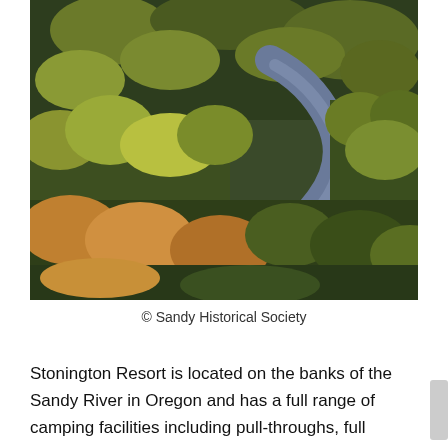[Figure (photo): Aerial photograph of the Sandy River in Oregon, winding through dense autumn forest with trees showing yellow and green foliage on both banks.]
© Sandy Historical Society
Stonington Resort is located on the banks of the Sandy River in Oregon and has a full range of camping facilities including pull-throughs, full hookups (water, electricity and sewer) for RVs and